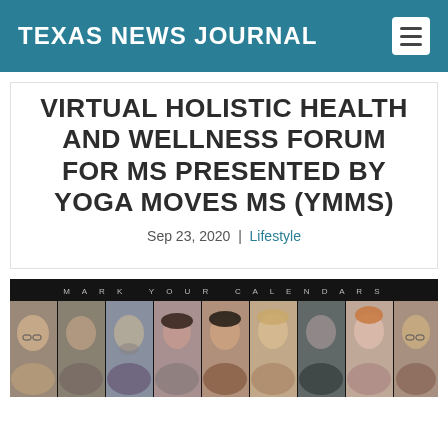TEXAS NEWS JOURNAL
VIRTUAL HOLISTIC HEALTH AND WELLNESS FORUM FOR MS PRESENTED BY YOGA MOVES MS (YMMS)
Sep 23, 2020 | Lifestyle
[Figure (photo): Banner image showing 'MARK YOUR CALENDARS' text above a row of 9 headshot photos of speakers or participants for the virtual forum.]